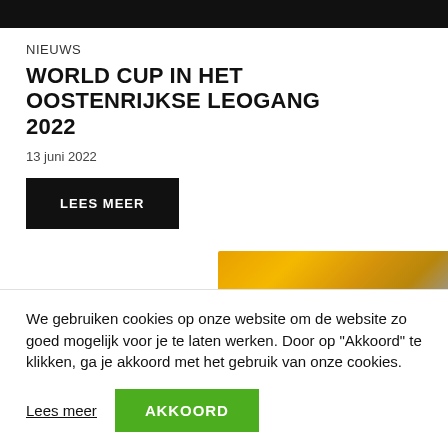NIEUWS
WORLD CUP IN HET OOSTENRIJKSE LEOGANG 2022
13 juni 2022
LEES MEER
[Figure (photo): Partial photo showing yellow/gold coiled spring or mechanical component against a dark background]
We gebruiken cookies op onze website om de website zo goed mogelijk voor je te laten werken. Door op "Akkoord" te klikken, ga je akkoord met het gebruik van onze cookies.
Lees meer
AKKOORD